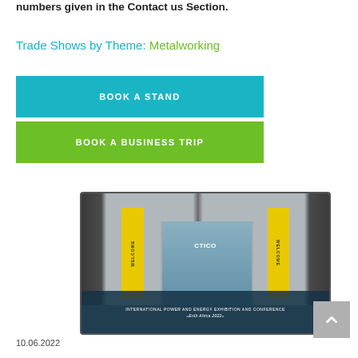numbers given in the Contact us Section.
Trade Shows by Theme: Metalworking
BOOK A STAND
BOOK A BUSINESS TRIP
[Figure (photo): Entrance of a conference/exhibition center building labeled CTICO with yellow WELCOME banners on either side of the glass revolving door. A dark teal caption bar at the bottom reads: INTERNATIONAL POWER AND ENERGY EXHIBITION AND CONFERENCE «ENLIT AFRICA 2022»]
10.06.2022